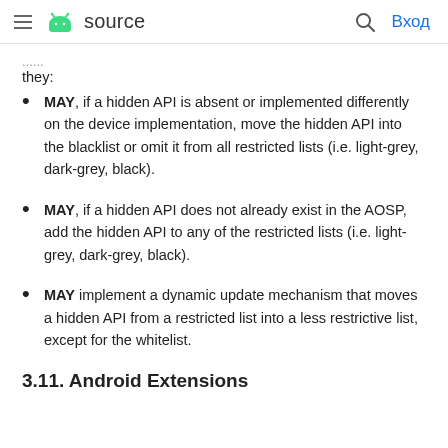≡ [android logo] source   [search] Вход
they:
MAY, if a hidden API is absent or implemented differently on the device implementation, move the hidden API into the blacklist or omit it from all restricted lists (i.e. light-grey, dark-grey, black).
MAY, if a hidden API does not already exist in the AOSP, add the hidden API to any of the restricted lists (i.e. light-grey, dark-grey, black).
MAY implement a dynamic update mechanism that moves a hidden API from a restricted list into a less restrictive list, except for the whitelist.
3.11. Android Extensions